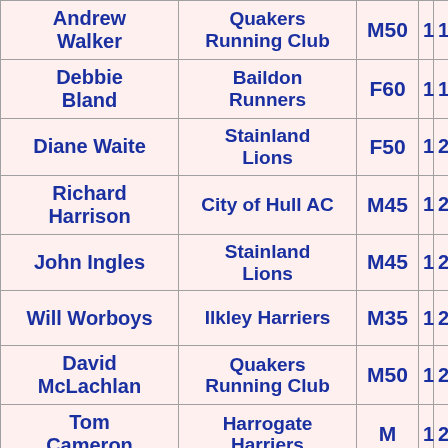| Andrew Walker | Quakers Running Club | M50 | 1 | 19 |
| Debbie Bland | Baildon Runners | F60 | 1 | 19 |
| Diane Waite | Stainland Lions | F50 | 1 | 20 |
| Richard Harrison | City of Hull AC | M45 | 1 | 20 |
| John Ingles | Stainland Lions | M45 | 1 | 20 |
| Will Worboys | Ilkley Harriers | M35 | 1 | 20 |
| David McLachlan | Quakers Running Club | M50 | 1 | 20 |
| Tom Cameron | Harrogate Harriers | M | 1 | 20 |